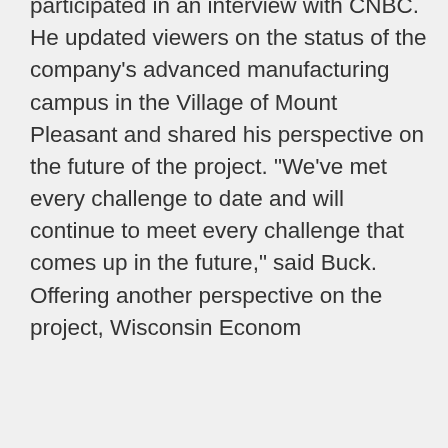participated in an interview with CNBC. He updated viewers on the status of the company's advanced manufacturing campus in the Village of Mount Pleasant and shared his perspective on the future of the project. "We've met every challenge to date and will continue to meet every challenge that comes up in the future," said Buck. Offering another perspective on the project, Wisconsin Econom
Racine Investor Sees Boost Thanks to Foxconn